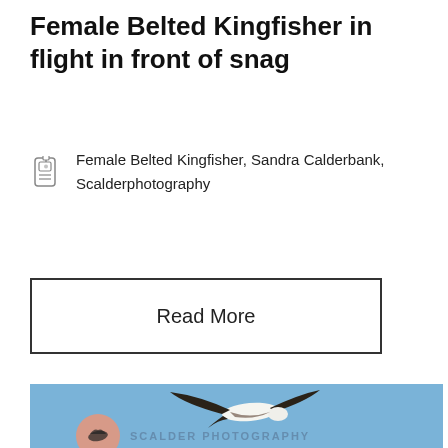Female Belted Kingfisher in flight in front of snag
Female Belted Kingfisher, Sandra Calderbank, Scalderphotography
Read More
[Figure (photo): A bird in flight against a blue sky background, with a watermark reading SCALDER PHOTOGRAPHY and a logo of a bird silhouette on a pink/salmon circle.]